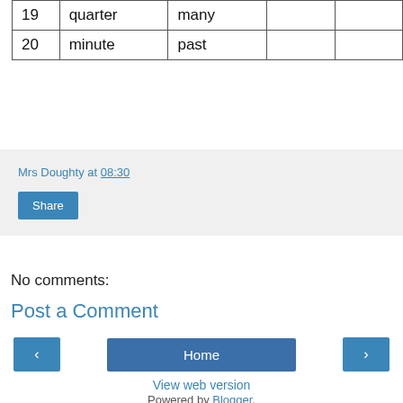|  |  |  |  |  |
| --- | --- | --- | --- | --- |
| 19 | quarter | many |  |  |
| 20 | minute | past |  |  |
Mrs Doughty at 08:30
Share
No comments:
Post a Comment
‹
Home
›
View web version
Powered by Blogger.